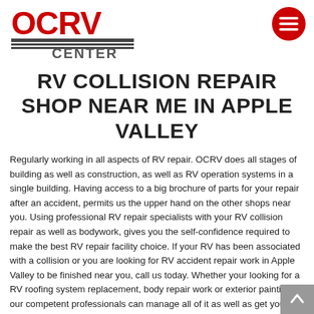OCRV Center logo and navigation menu
RV COLLISION REPAIR SHOP NEAR ME IN APPLE VALLEY
Regularly working in all aspects of RV repair. OCRV does all stages of building as well as construction, as well as RV operation systems in a single building. Having access to a big brochure of parts for your repair after an accident, permits us the upper hand on the other shops near you. Using professional RV repair specialists with your RV collision repair as well as bodywork, gives you the self-confidence required to make the best RV repair facility choice. If your RV has been associated with a collision or you are looking for RV accident repair work in Apple Valley to be finished near you, call us today. Whether your looking for a RV roofing system replacement, body repair work or exterior painting, our competent professionals can manage all of it as well as get your RV looking all new. Stop by as